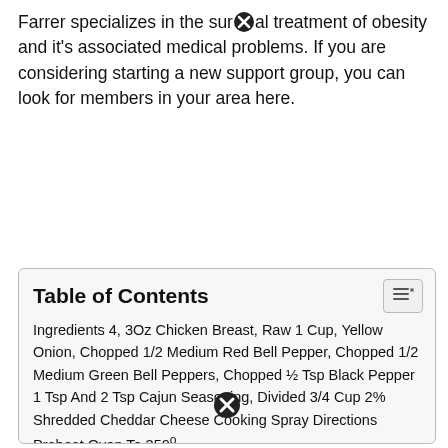Farrer specializes in the surgical treatment of obesity and it's associated medical problems. If you are considering starting a new support group, you can look for members in your area here.
Table of Contents
Ingredients 4, 3Oz Chicken Breast, Raw 1 Cup, Yellow Onion, Chopped 1/2 Medium Red Bell Pepper, Chopped 1/2 Medium Green Bell Peppers, Chopped ½ Tsp Black Pepper 1 Tsp And 2 Tsp Cajun Seasoning, Divided 3/4 Cup 2% Shredded Cheddar Cheese Cooking Spray Directions Preheat Oven To 350°.
Stir In The Chicken And Refrigerate Until Cold, 40 Minutes To 1 Hour.
The Dietitians At Rex Bariatric Specialists Are Back Again With Another Quick Recipe.
$99 For Entire Year Supply Of 1 Per Day! Bariatric Multivitamins!